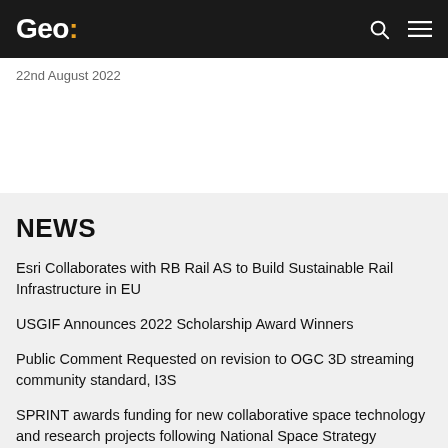Geo:
22nd August 2022
NEWS
Esri Collaborates with RB Rail AS to Build Sustainable Rail Infrastructure in EU
USGIF Announces 2022 Scholarship Award Winners
Public Comment Requested on revision to OGC 3D streaming community standard, I3S
SPRINT awards funding for new collaborative space technology and research projects following National Space Strategy